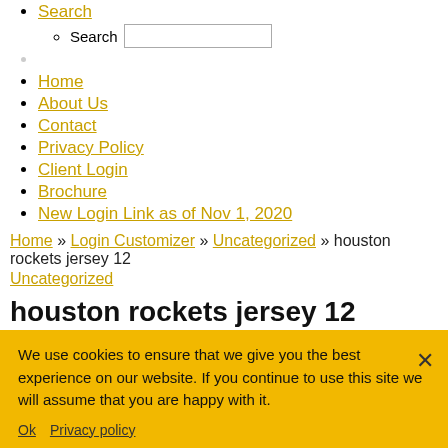Search (with search input)
Home
About Us
Contact
Privacy Policy
Client Login
Brochure
New Login Link as of Nov 1, 2020
Home » Login Customizer » Uncategorized » houston rockets jersey 12
Uncategorized
houston rockets jersey 12
by | Published
$39.25. Men's Houston Rockets Jordan Brand Russell Westbrook 2020 All-Star Swingman Jersey - Red Regular price $125 Sale price $75 Sale
Men's Houston Rockets Jordan Brand Russell Westbrook 2020
We use cookies to ensure that we give you the best experience on our website. If you continue to use this site we will assume that you are happy with it.